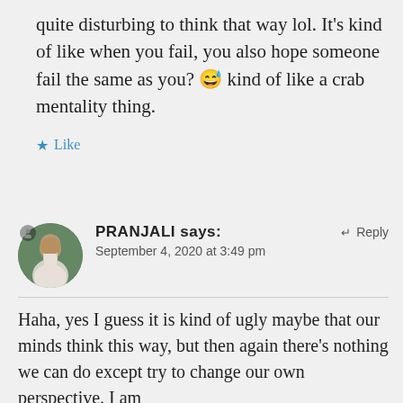quite disturbing to think that way lol. It's kind of like when you fail, you also hope someone fail the same as you? 😅 kind of like a crab mentality thing.
★ Like
PRANJALI says:
September 4, 2020 at 3:49 pm
↵ Reply
Haha, yes I guess it is kind of ugly maybe that our minds think this way, but then again there's nothing we can do except try to change our own perspective. I am